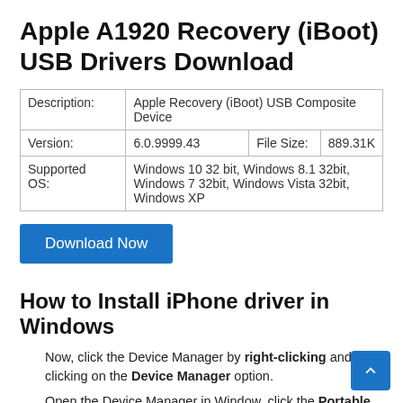Apple A1920 Recovery (iBoot) USB Drivers Download
| Description: | Apple Recovery (iBoot) USB Composite Device |
| Version: | 6.0.9999.43 | File Size: | 889.31K |
| Supported OS: | Windows 10 32 bit, Windows 8.1 32bit, Windows 7 32bit, Windows Vista 32bit, Windows XP |
Download Now
How to Install iPhone driver in Windows
Now, click the Device Manager by right-clicking and then clicking on the Device Manager option.
Open the Device Manager in Window, click the Portable devices: REQUIRED: Your phone must be connected to your PC. Click the > Arrow and get Portable devices to see Apple iPhone entry. Right-click on the iPhone then click the Update